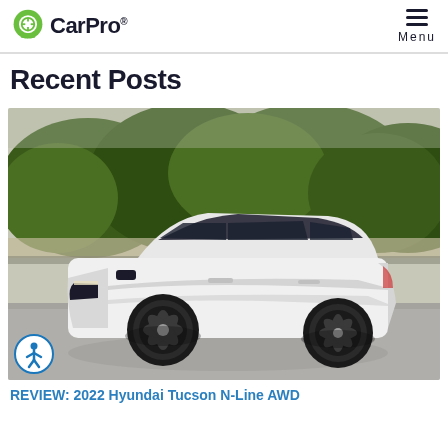CarPro
Recent Posts
[Figure (photo): White 2022 Hyundai Tucson N-Line AWD SUV parked on pavement with trees in background]
REVIEW: 2022 Hyundai Tucson N-Line AWD